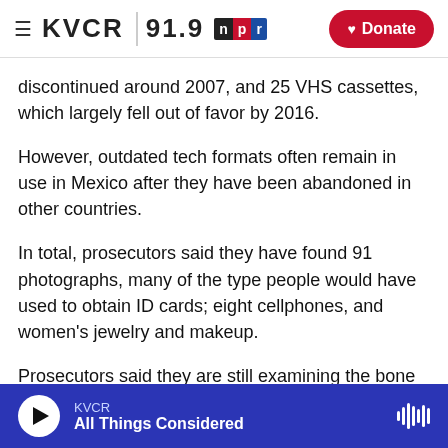KVCR 91.9 | NPR | Donate
discontinued around 2007, and 25 VHS cassettes, which largely fell out of favor by 2016.
However, outdated tech formats often remain in use in Mexico after they have been abandoned in other countries.
In total, prosecutors said they have found 91 photographs, many of the type people would have used to obtain ID cards; eight cellphones, and women's jewelry and makeup.
Prosecutors said they are still examining the bone
KVCR | All Things Considered